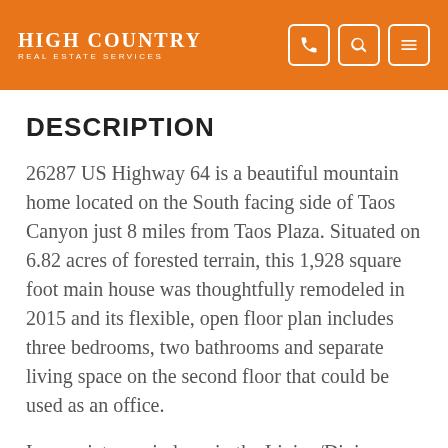High Country Real Estate Services
DESCRIPTION
26287 US Highway 64 is a beautiful mountain home located on the South facing side of Taos Canyon just 8 miles from Taos Plaza. Situated on 6.82 acres of forested terrain, this 1,928 square foot main house was thoughtfully remodeled in 2015 and its flexible, open floor plan includes three bedrooms, two bathrooms and separate living space on the second floor that could be used as an office.
Large picture windows in the Living/Dining area features a southern exposure and